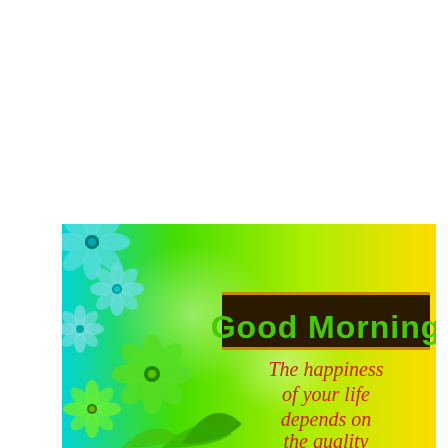[Figure (illustration): A 'Good Morning' greeting card with a green-to-yellow gradient background, decorative teal and green flowers on the left side, with the text 'Good Morning' in green bold font on a dark brown banner, and below it in red italic text: 'The happiness of your life depends on the quality']